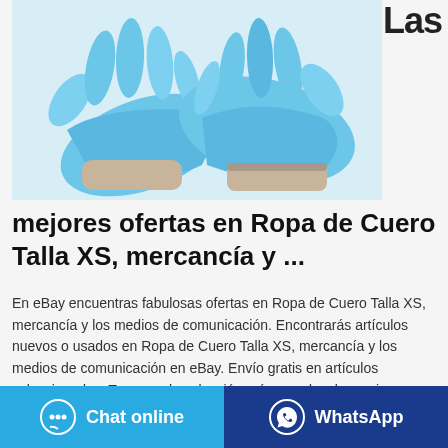Las
[Figure (photo): Two hands wearing blue nitrile/latex gloves placed flat on a light grey surface, tips of fingers touching to form a triangle shape.]
mejores ofertas en Ropa de Cuero Talla XS, mercancía y ...
En eBay encuentras fabulosas ofertas en Ropa de Cuero Talla XS, mercancía y los medios de comunicación. Encontrarás artículos nuevos o usados en Ropa de Cuero Talla XS, mercancía y los medios de comunicación en eBay. Envío gratis en artículos seleccionados. Tenemos la selección más grande y las mejores ofertas en Ropa de
Chat online
WhatsApp